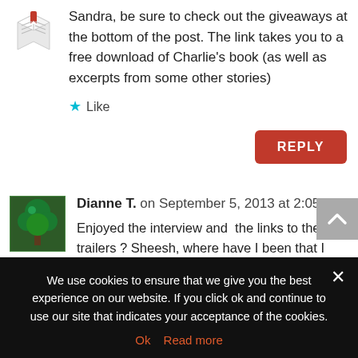Sandra, be sure to check out the giveaways at the bottom of the post. The link takes you to a free download of Charlie's book (as well as excerpts from some other stories)
Like
REPLY
Dianne T. on September 5, 2013 at 2:05 pm
Enjoyed the interview and  the links to the trailers ? Sheesh, where have I been that I didn't realize Charlie is also a narrator for DSP? Checking this out pronto!
Like
We use cookies to ensure that we give you the best experience on our website. If you click ok and continue to use our site that indicates your acceptance of the cookies.
Ok   Read more